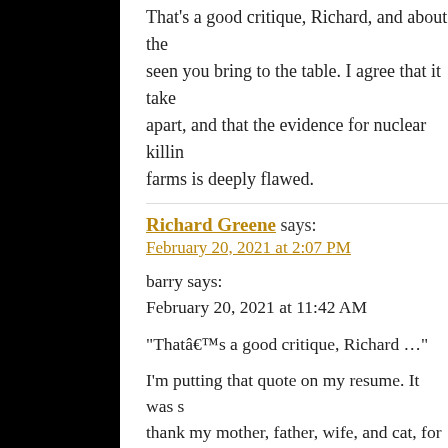That's a good critique, Richard, and about the seen you bring to the table. I agree that it take apart, and that the evidence for nuclear killin farms is deeply flawed.
Richard Greene says:
February 20, 2021 at 2:07 PM
barry says:
February 20, 2021 at 11:42 AM
“Thatâ€™s a good critique, Richard …”
I’m putting that quote on my resume. It was s thank my mother, father, wife, and cat, for leftist fairy tales about climate change.
We love global warming here in Michigan.
Except a few ski bums.